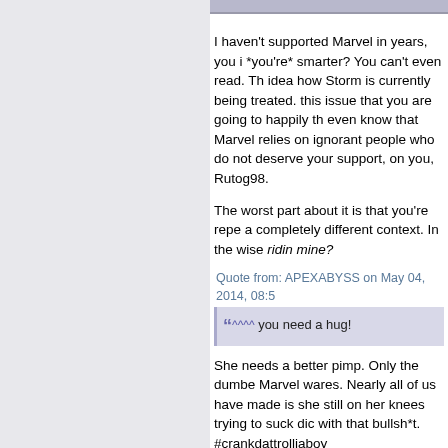I haven't supported Marvel in years, you i *you're* smarter? You can't even read. Th idea how Storm is currently being treated. this issue that you are going to happily th even know that Marvel relies on ignorant people who do not deserve your support, on you, Rutog98.
The worst part about it is that you're repe a completely different context. In the wise ridin mine?
Quote from: APEXABYSS on May 04, 2014, 08:5
^^^^ you need a hug!
She needs a better pimp. Only the dumbe Marvel wares. Nearly all of us have made is she still on her knees trying to suck dic with that bullsh*t. #crankdattrolljaboy
« Last Edit: May 04, 2014, 09:36:22 pm by Maxir
She wanted attention and that's what she got.